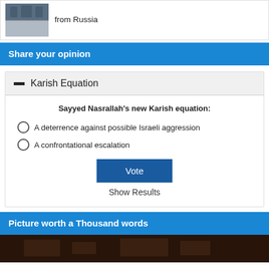[Figure (photo): Small thumbnail photo of a building, appears to be in Russia with classical architecture]
from Russia
Share your opinion
Karish Equation
Sayyed Nasrallah's new Karish equation:
A deterrence against possible Israeli aggression
A confrontational escalation
Vote
Show Results
Picture worth a Thousand words
[Figure (photo): Dark photo at bottom of page, partially visible]